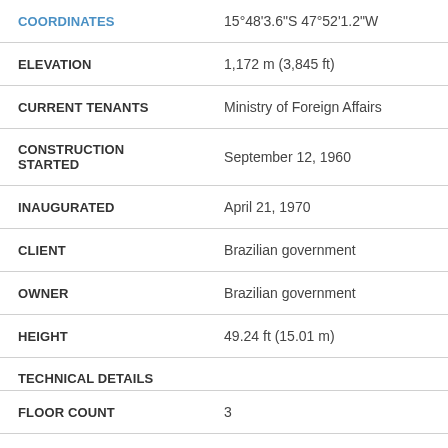| Field | Value |
| --- | --- |
| COORDINATES | 15°48'3.6"S 47°52'1.2"W |
| ELEVATION | 1,172 m (3,845 ft) |
| CURRENT TENANTS | Ministry of Foreign Affairs |
| CONSTRUCTION STARTED | September 12, 1960 |
| INAUGURATED | April 21, 1970 |
| CLIENT | Brazilian government |
| OWNER | Brazilian government |
| HEIGHT | 49.24 ft (15.01 m) |
| TECHNICAL DETAILS |  |
| FLOOR COUNT | 3 |